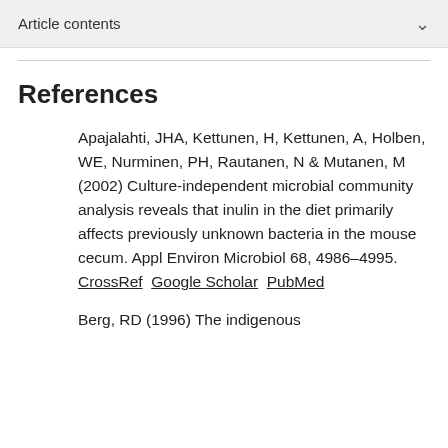Article contents
References
Apajalahti, JHA, Kettunen, H, Kettunen, A, Holben, WE, Nurminen, PH, Rautanen, N & Mutanen, M (2002) Culture-independent microbial community analysis reveals that inulin in the diet primarily affects previously unknown bacteria in the mouse cecum. Appl Environ Microbiol 68, 4986–4995. CrossRef Google Scholar PubMed
Berg, RD (1996) The indigenous